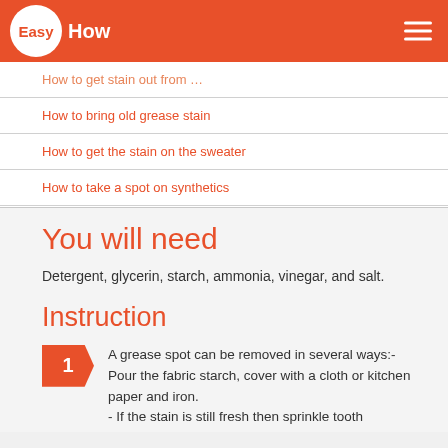EasyHow
How to get stain out from …
How to bring old grease stain
How to get the stain on the sweater
How to take a spot on synthetics
You will need
Detergent, glycerin, starch, ammonia, vinegar, and salt.
Instruction
1 A grease spot can be removed in several ways:- Pour the fabric starch, cover with a cloth or kitchen paper and iron.
- If the stain is still fresh then sprinkle tooth